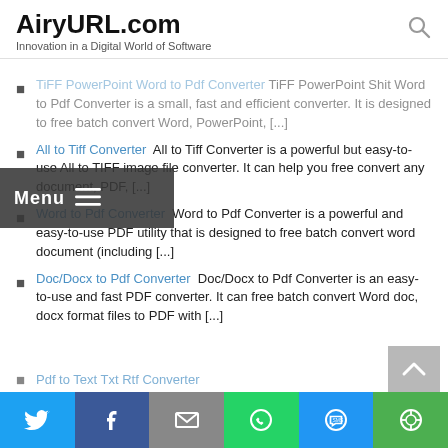AiryURL.com — Innovation in a Digital World of Software
TiFF PowerPoint Word to Pdf Converter TiFF PowerPoint Word to Pdf Converter is a small, fast and efficient converter. It is designed to free batch convert Word, PowerPoint, [...]
All to Tiff Converter All to Tiff Converter is a powerful but easy-to-use All to TIFF image file converter. It can help you free convert any document, PDF, [...]
Word to Pdf Converter Word to Pdf Converter is a powerful and easy-to-use PDF utility that is designed to free batch convert word document (including [...])
Doc/Docx to Pdf Converter Doc/Docx to Pdf Converter is an easy-to-use and fast PDF converter. It can free batch convert Word doc, docx format files to PDF with [...]
Pdf to Text Txt Rtf Converter